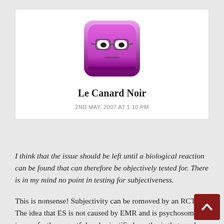[Figure (illustration): Avatar image of a pink/purple cartoon square character with glasses and a neutral expression]
Le Canard Noir
2ND MAY, 2007 AT 1:10 PM
I think that the issue should be left until a biological reaction can be found that can therefore be objectively tested for. There is in my mind no point in testing for subjectiveness.
This is nonsense! Subjectivity can be romoved by an RCT. The idea that ES is not caused by EMR and is psychosomatic is a perfectly respectful and scientific hypothesis that can be tested by experiment. It is tested and passes. One does not need to know the biological